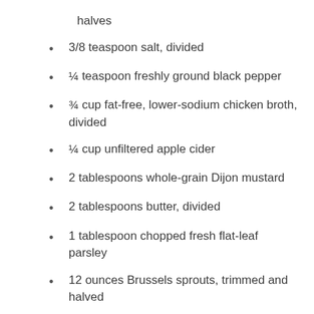halves
3/8 teaspoon salt, divided
¼ teaspoon freshly ground black pepper
¾ cup fat-free, lower-sodium chicken broth, divided
¼ cup unfiltered apple cider
2 tablespoons whole-grain Dijon mustard
2 tablespoons butter, divided
1 tablespoon chopped fresh flat-leaf parsley
12 ounces Brussels sprouts, trimmed and halved
Directions